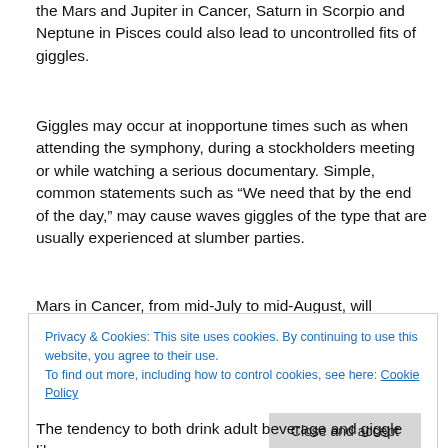the Mars and Jupiter in Cancer, Saturn in Scorpio and Neptune in Pisces could also lead to uncontrolled fits of giggles.
Giggles may occur at inopportune times such as when attending the symphony, during a stockholders meeting or while watching a serious documentary. Simple, common statements such as “We need that by the end of the day,” may cause waves giggles of the type that are usually experienced at slumber parties.
Mars in Cancer, from mid-July to mid-August, will increase
Privacy & Cookies: This site uses cookies. By continuing to use this website, you agree to their use.
To find out more, including how to control cookies, see here: Cookie Policy
The tendency to both drink adult beverage and giggle like